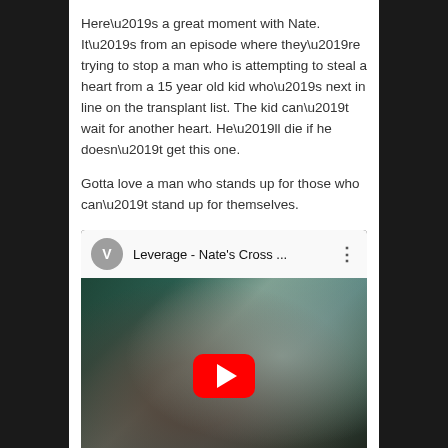Here’s a great moment with Nate. It’s from an episode where they’re trying to stop a man who is attempting to steal a heart from a 15 year old kid who’s next in line on the transplant list. The kid can’t wait for another heart. He’ll die if he doesn’t get this one.
Gotta love a man who stands up for those who can’t stand up for themselves.
[Figure (screenshot): Embedded YouTube video thumbnail showing a bald man reclining, with a red YouTube play button overlay. Video title reads 'Leverage - Nate's Cross ...' with a grey avatar showing 'V'.]